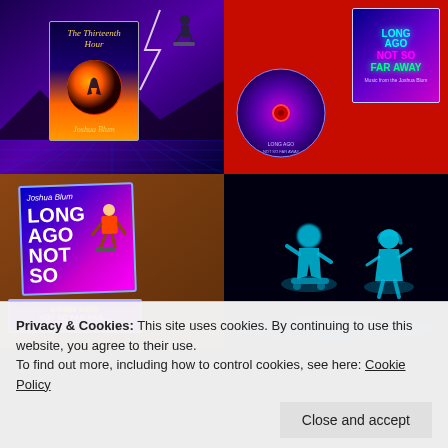[Figure (photo): Four-panel photo grid: top-left shows a book cover 'The Thirteenth Hour by Joshua Blum' with a skater figure on a purple/lightning background; top-right shows a CD case and disc labeled 'Long Ago Not So Far Away' on a red background; bottom-left shows cassette tape cases labeled 'Long Ago Not So Far Away' on a brown/orange background; bottom-right shows glowing cyan figures of skaters on a black background.]
Privacy & Cookies: This site uses cookies. By continuing to use this website, you agree to their use.
To find out more, including how to control cookies, see here: Cookie Policy
Close and accept